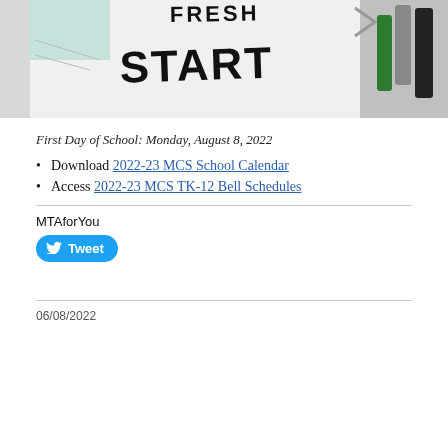[Figure (photo): Photo of a whiteboard or paper with 'FRESH START' written in large bold block letters, with markers visible on the right side.]
First Day of School: Monday, August 8, 2022
Download 2022-23 MCS School Calendar
Access 2022-23 MCS TK-12 Bell Schedules
MTAforYou
Tweet
06/08/2022